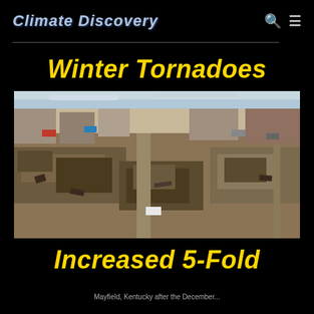Climate Discovery
Winter Tornadoes
[Figure (photo): Aerial photograph of tornado devastation in Mayfield, Kentucky, showing widespread destruction of buildings and debris across a neighborhood.]
Increased 5-Fold
Mayfield, Kentucky after the December...